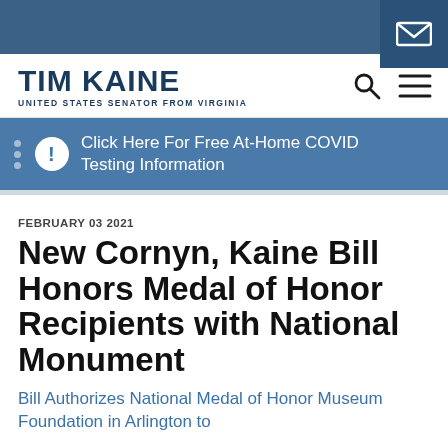TIM KAINE UNITED STATES SENATOR FROM VIRGINIA
Click Here For Free At-Home COVID Testing Information
FEBRUARY 03 2021
New Cornyn, Kaine Bill Honors Medal of Honor Recipients with National Monument
Bill Authorizes National Medal of Honor Museum Foundation in Arlington to